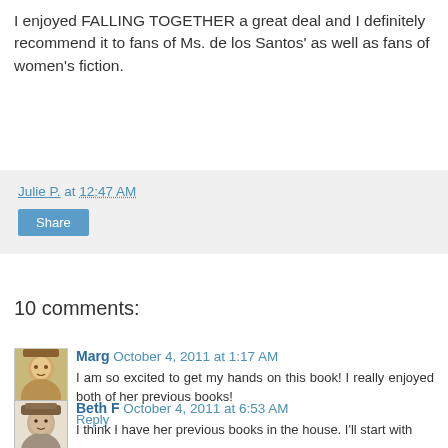I enjoyed FALLING TOGETHER a great deal and I definitely recommend it to fans of Ms. de los Santos' as well as fans of women's fiction.
Julie P. at 12:47 AM
Share
10 comments:
Marg October 4, 2011 at 1:17 AM
I am so excited to get my hands on this book! I really enjoyed both of her previous books!
Reply
[Figure (photo): Avatar image for commenter Marg - sepia toned photo]
Beth F October 4, 2011 at 6:53 AM
I think I have her previous books in the house. I'll start with
[Figure (photo): Avatar image for commenter Beth F - illustrated portrait]